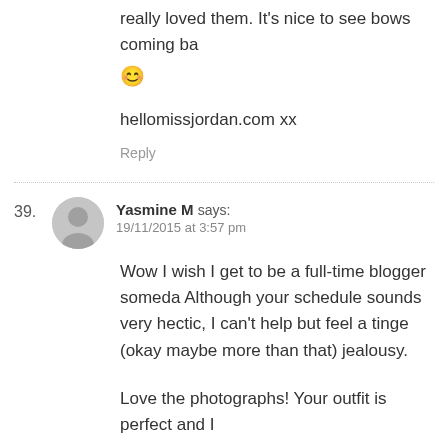really loved them. It's nice to see bows coming ba
😊
hellomissjordan.com xx
Reply
39. Yasmine M says: 19/11/2015 at 3:57 pm
Wow I wish I get to be a full-time blogger someda Although your schedule sounds very hectic, I can't help but feel a tinge (okay maybe more than that) jealousy.
Love the photographs! Your outfit is perfect and I